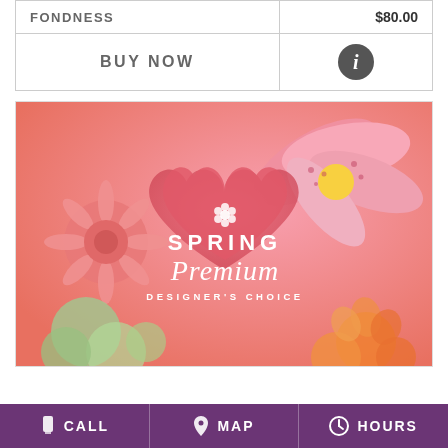| FONDNESS | $80.00 |
| BUY NOW | ℹ |
[Figure (photo): Spring Premium Designer's Choice flower arrangement photo with pink lilies, coral gerbera daisies, orange roses, and green hydrangeas, overlaid with a semi-transparent pink heart shape containing a white flower icon, the text SPRING Premium DESIGNER'S CHOICE in white]
CALL  MAP  HOURS